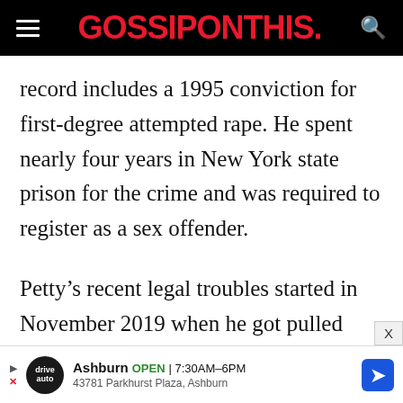GOSSIPONTHIS.
record includes a 1995 conviction for first-degree attempted rape. He spent nearly four years in New York state prison for the crime and was required to register as a sex offender.
Petty’s recent legal troubles started in November 2019 when he got pulled over in Beverly Hills. He’d just moved to the area
Ashburn OPEN 7:30AM–6PM 43781 Parkhurst Plaza, Ashburn